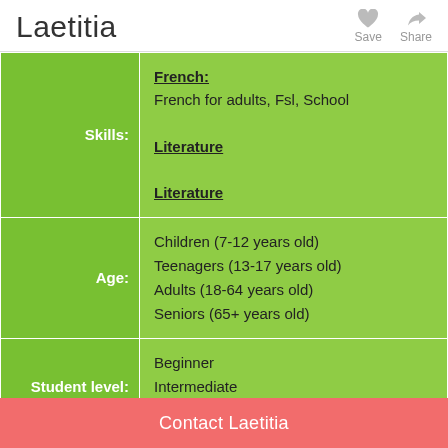Laetitia
| Label | Value |
| --- | --- |
| Skills: | French: French for adults, Fsl, School
Literature
Literature |
| Age: | Children (7-12 years old)
Teenagers (13-17 years old)
Adults (18-64 years old)
Seniors (65+ years old) |
| Student level: | Beginner
Intermediate
Advanced |
| Duration: | 60 minutes |
Contact Laetitia